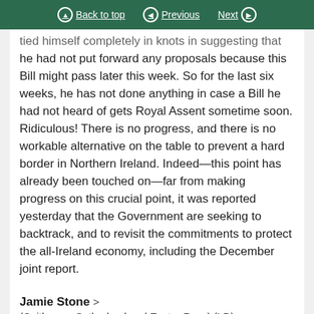Back to top | Previous | Next
tied himself completely in knots in suggesting that he had not put forward any proposals because this Bill might pass later this week. So for the last six weeks, he has not done anything in case a Bill he had not heard of gets Royal Assent sometime soon. Ridiculous! There is no progress, and there is no workable alternative on the table to prevent a hard border in Northern Ireland. Indeed—this point has already been touched on—far from making progress on this crucial point, it was reported yesterday that the Government are seeking to backtrack, and to revisit the commitments to protect the all-Ireland economy, including the December joint report.
Jamie Stone > (Caithness, Sutherland and Easter Ross) (LD)